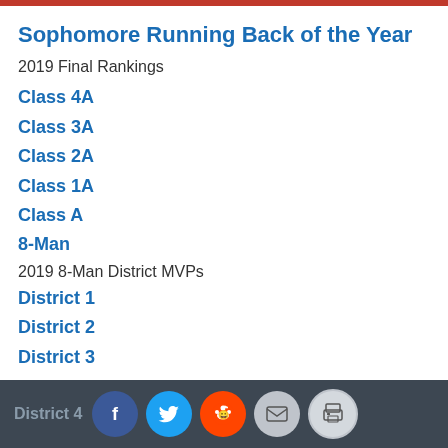Sophomore Running Back of the Year
2019 Final Rankings
Class 4A
Class 3A
Class 2A
Class 1A
Class A
8-Man
2019 8-Man District MVPs
District 1
District 2
District 3
District 4